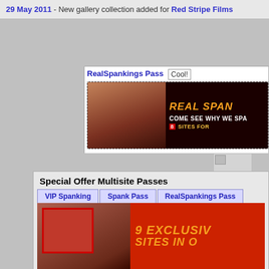29 May 2011 - New gallery collection added for Red Stripe Films
[Figure (other): Ad banner for RealSpankings Pass with Cool! badge and promotional image showing REAL SPANKINGS text and COME SEE WHY WE SPA... 8 SITES FOR...]
Ultimate access - 8 sites, 1 pass. Gigabytes of exclusive pics than $70!
[Figure (other): Small broken image placeholder]
Special Offer Multisite Passes
VIP Spanking | Spank Pass | RealSpankings Pass
[Figure (other): Banner ad showing 9 EXCLUSIVE SITES IN O... with promotional imagery]